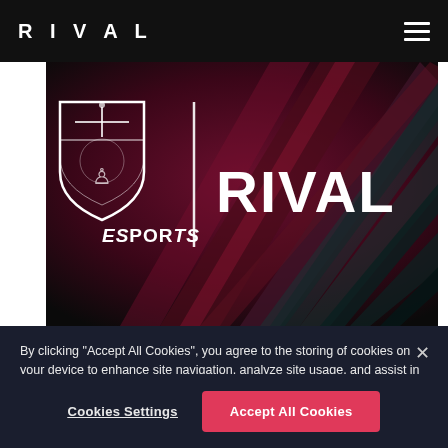RIVAL
[Figure (photo): Hero image showing Burnley Esports and RIVAL logos side by side on a dark maroon/teal abstract background with diagonal light rays. Left side shows Burnley FC crest with 'ESPORTS' text below, separated by a vertical white line from the large 'RIVAL' wordmark on the right.]
By clicking "Accept All Cookies", you agree to the storing of cookies on your device to enhance site navigation, analyze site usage, and assist in our marketing efforts.
Cookies Settings
Accept All Cookies